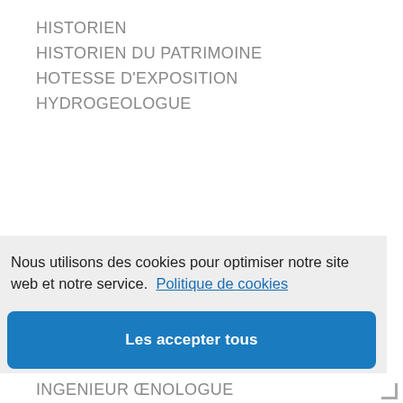HISTORIEN
HISTORIEN DU PATRIMOINE
HOTESSE D'EXPOSITION
HYDROGEOLOGUE
Nous utilisons des cookies pour optimiser notre site web et notre service.  Politique de cookies
Les accepter tous
Fonctionnels uniquement
Voir les préférences
INGENIEUR ŒNOLOGUE